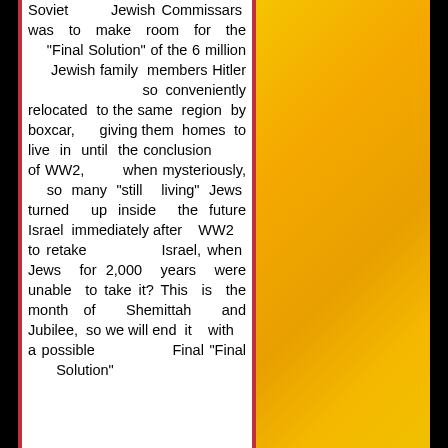Soviet Jewish Commissars was to make room for the "Final Solution" of the 6 million Jewish family members Hitler so conveniently relocated to the same region by boxcar, giving them homes to live in until the conclusion of WW2, when mysteriously, so many "still living" Jews turned up inside the future Israel immediately after WW2 to retake Israel, when Jews for 2,000 years were unable to take it? This is the month of Shemittah and Jubilee, so we will end it with a possible Final "Final Solution"